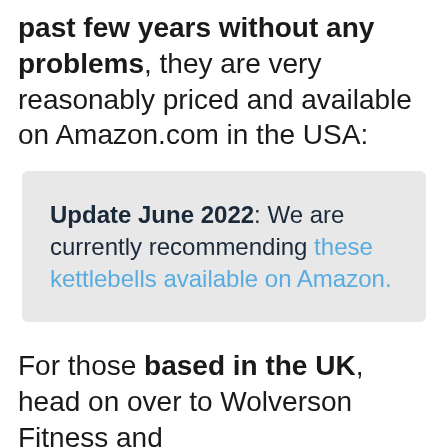past few years without any problems, they are very reasonably priced and available on Amazon.com in the USA:
Update June 2022: We are currently recommending these kettlebells available on Amazon.
For those based in the UK, head on over to Wolverson Fitness and